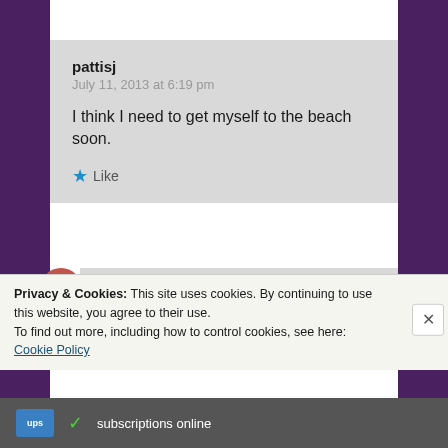pattisj
July 11, 2013 at 6:19 pm

I think I need to get myself to the beach soon.

★ Like
mithriluna
July 12, 2013 at 11:54 am
Privacy & Cookies: This site uses cookies. By continuing to use this website, you agree to their use.
To find out more, including how to control cookies, see here: Cookie Policy
Close and accept
subscriptions online